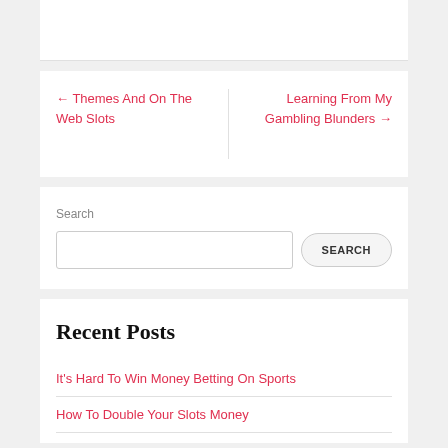← Themes And On The Web Slots
Learning From My Gambling Blunders →
Search
Recent Posts
It's Hard To Win Money Betting On Sports
How To Double Your Slots Money